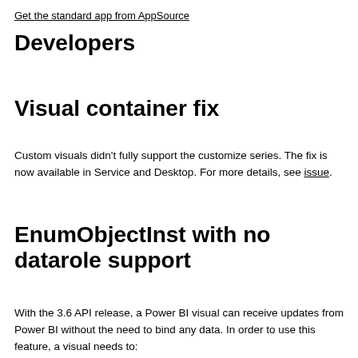Get the standard app from AppSource
Developers
Visual container fix
Custom visuals didn't fully support the customize series. The fix is now available in Service and Desktop. For more details, see issue.
EnumObjectInst with no datarole support
With the 3.6 API release, a Power BI visual can receive updates from Power BI without the need to bind any data. In order to use this feature, a visual needs to: